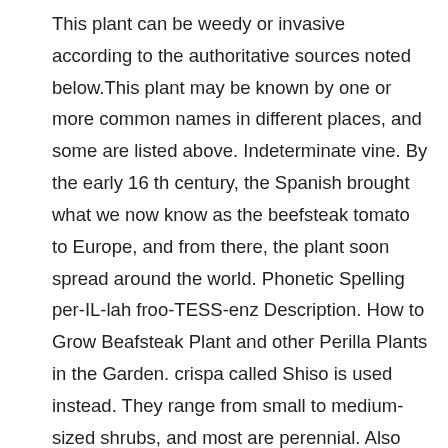This plant can be weedy or invasive according to the authoritative sources noted below.This plant may be known by one or more common names in different places, and some are listed above. Indeterminate vine. By the early 16 th century, the Spanish brought what we now know as the beefsteak tomato to Europe, and from there, the plant soon spread around the world. Phonetic Spelling per-IL-lah froo-TESS-enz Description. How to Grow Beafsteak Plant and other Perilla Plants in the Garden. crispa called Shiso is used instead. They range from small to medium-sized shrubs, and most are perennial. Also known as: beefsteak plant, common perilla, purple perilla, purple mint, shiso, Chinese basil, wild basil, blueweed, Josepha’s coat, wild coleus, rattlesnake weed Classification and Description Perilla mint is a member of the Lamiaceae or mint family. Beefsteak plant was introduced into the United States as an ornamental, culinary herb and salad plant by Asian immigrants in the late 1800s. Last updated on Jul 2, 2020. Perilla. Native plant alternatives have been consolidated in a separate section. The square stems are villose, purple or green